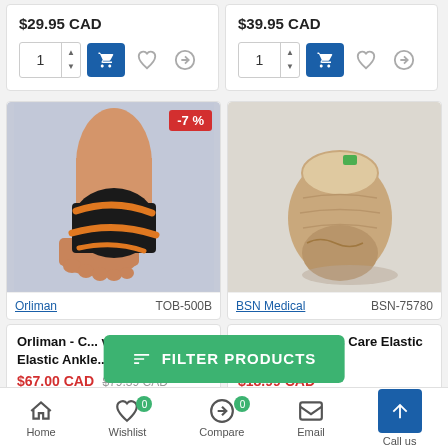$29.95 CAD
$39.95 CAD
[Figure (photo): Black and orange elastic ankle brace/support on a human leg with -7% discount badge]
[Figure (photo): Beige/tan elastic ankle support brace on white background]
Orliman    TOB-500B
BSN Medical    BSN-75780
Orliman - C... ve Arthritis Care Elastic Ankle... kle Support
$67.00 CAD  $79.39 CAD
$18.99 CAD
FILTER PRODUCTS
Home  Wishlist  Compare  Email  Call us